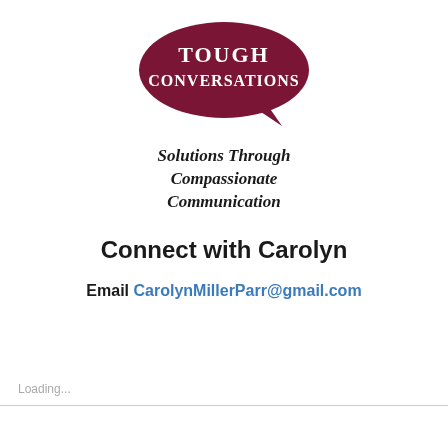[Figure (logo): Tough Conversations logo: dark red speech bubble with white text reading TOUGH CONVERSATIONS with a tail on the bottom right]
Solutions Through Compassionate Communication
Connect with Carolyn
Email CarolynMillerParr@gmail.com
Loading...